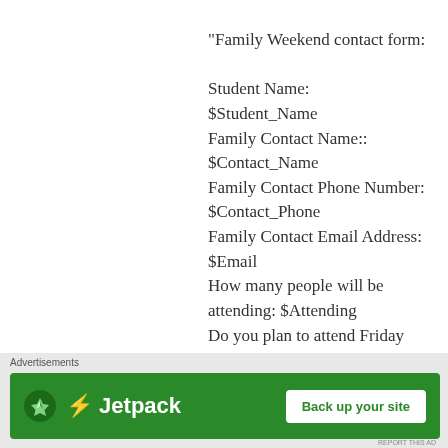“Family Weekend contact form:

Student Name:
$Student_Name
Family Contact Name::
$Contact_Name
Family Contact Phone Number: $Contact_Phone
Family Contact Email Address: $Email
How many people will be attending: $Attending
Do you plan to attend Friday
Advertisements
[Figure (other): Jetpack advertisement banner with green background, Jetpack logo on left and 'Back up your site' button on right]